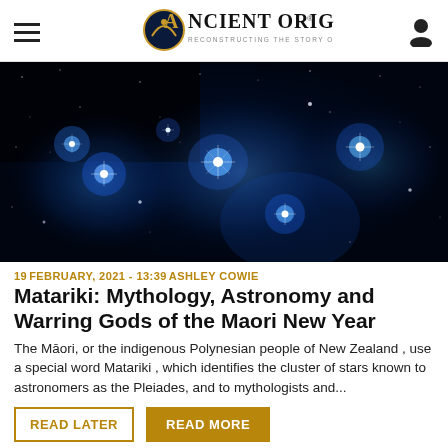Ancient Origins — Reconstructing the Story of Humanity's Past
[Figure (photo): Close-up photograph of the Pleiades star cluster showing bright blue-white stars with nebulous glow against a dark space background]
19 FEBRUARY, 2021 - 13:39 ASHLEY COWIE
Matariki: Mythology, Astronomy and Warring Gods of the Maori New Year
The Māori, or the indigenous Polynesian people of New Zealand , use a special word Matariki , which identifies the cluster of stars known to astronomers as the Pleiades, and to mythologists and...